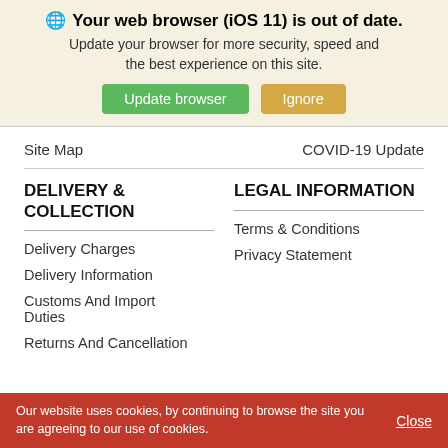🌐 Your web browser (iOS 11) is out of date. Update your browser for more security, speed and the best experience on this site.
Update browser | Ignore
Site Map
COVID-19 Update
DELIVERY & COLLECTION
Delivery Charges
Delivery Information
Customs And Import Duties
Returns And Cancellation
LEGAL INFORMATION
Terms & Conditions
Privacy Statement
Our website uses cookies, by continuing to browse the site you are agreeing to our use of cookies.